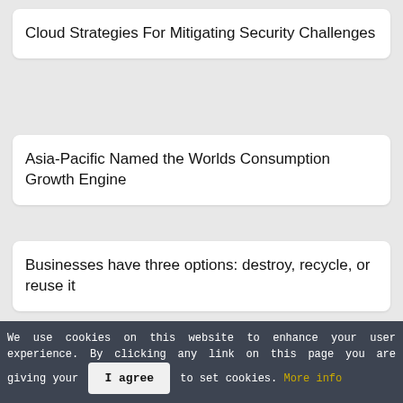Cloud Strategies For Mitigating Security Challenges
Asia-Pacific Named the Worlds Consumption Growth Engine
Businesses have three options: destroy, recycle, or reuse it
A Glance of IT Asset Disposition Industry in 2022
We use cookies on this website to enhance your user experience. By clicking any link on this page you are giving your [I agree] to set cookies. More info